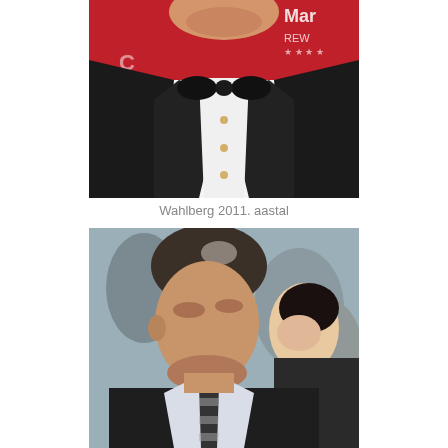[Figure (photo): Man in black tuxedo with bow tie at formal event, red background with Marriott Rewards logo visible, photo cropped from chin to chest area showing smile]
Wahlberg 2011. aastal
[Figure (photo): Man in dark suit with striped tie looking down, surrounded by crowd of people, candid event photo]